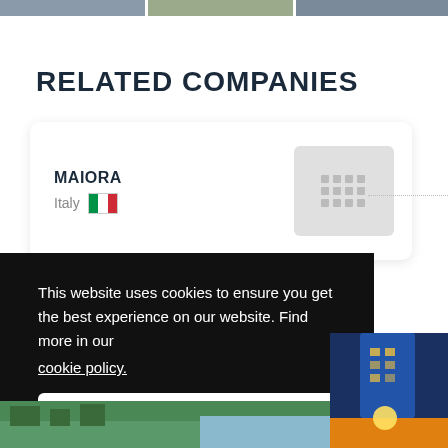[Figure (photo): Top banner strip with images]
RELATED COMPANIES
[Figure (illustration): Company card for MAIORA with country Italy and flag icon, plus a building/grid placeholder image on the right]
This website uses cookies to ensure you get the best experience on our website. Find more in our cookie policy.
Got it!